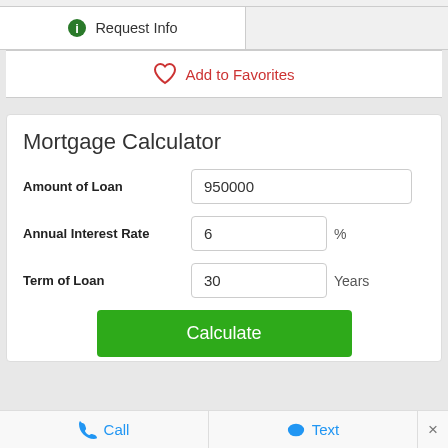[Figure (screenshot): UI button row with Request Info button (green info icon) on left and empty right cell on grey background]
[Figure (screenshot): Add to Favorites button row with red heart icon on white background]
Mortgage Calculator
Amount of Loan: 950000
Annual Interest Rate: 6 %
Term of Loan: 30 Years
[Figure (screenshot): Green Calculate button]
[Figure (screenshot): Bottom bar with Call and Text buttons and close X]